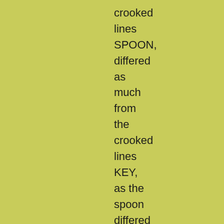crooked
lines
SPOON,
differed
as
much
from
the
crooked
lines
KEY,
as  the
spoon
differed
from
the
key  in
form.